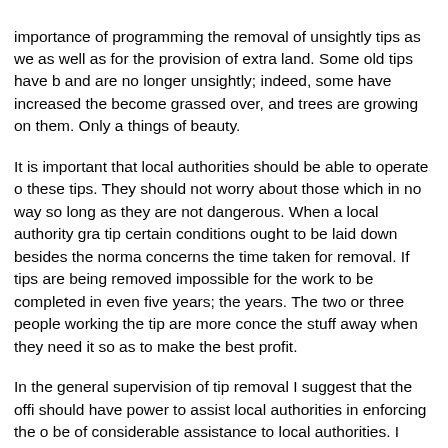importance of programming the removal of unsightly tips as we as well as for the provision of extra land. Some old tips have b and are no longer unsightly; indeed, some have increased the become grassed over, and trees are growing on them. Only a things of beauty.
It is important that local authorities should be able to operate o these tips. They should not worry about those which in no way so long as they are not dangerous. When a local authority gra tip certain conditions ought to be laid down besides the norma concerns the time taken for removal. If tips are being removed impossible for the work to be completed in even five years; the years. The two or three people working the tip are more conce the stuff away when they need it so as to make the best profit.
In the general supervision of tip removal I suggest that the offi should have power to assist local authorities in enforcing the o be of considerable assistance to local authorities. I know that t code of practice, and the question of time should form part of t
Clause 2 of the Bill defines the expression "tip". Under the pres